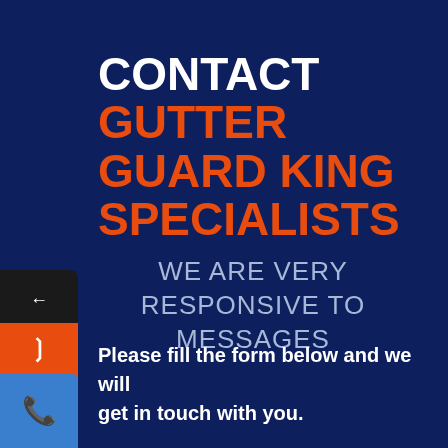CONTACT GUTTER GUARD KING SPECIALISTS
WE ARE VERY RESPONSIVE TO MESSAGES
Please fill the form below and we will get in touch with you.